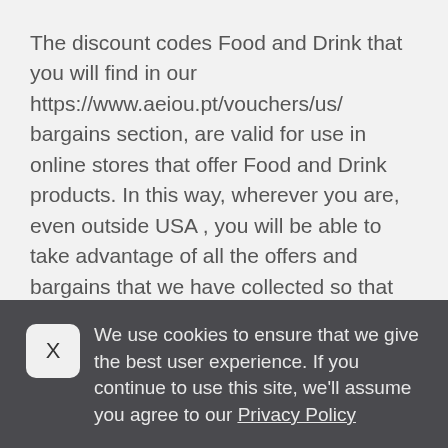The discount codes Food and Drink that you will find in our https://www.aeiou.pt/vouchers/us/ bargains section, are valid for use in online stores that offer Food and Drink products. In this way, wherever you are, even outside USA , you will be able to take advantage of all the offers and bargains that we have collected so that online stores ship to anywhere in the world.
We use cookies to ensure that we give the best user experience. If you continue to use this site, we'll assume you agree to our Privacy Policy